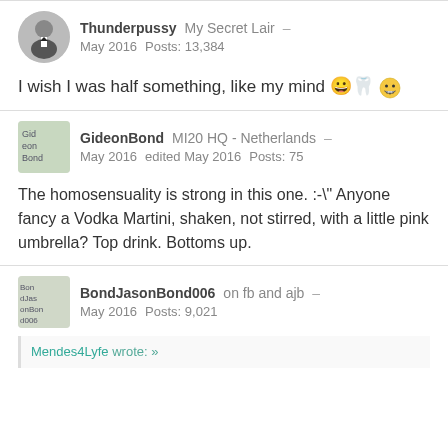Thunderpussy   My Secret Lair  –
May 2016   Posts: 13,384
I wish I was half something, like my mind 😁
GideonBond   MI20 HQ - Netherlands  –
May 2016   edited May 2016   Posts: 75
The homosensuality is strong in this one. :-\" Anyone fancy a Vodka Martini, shaken, not stirred, with a little pink umbrella? Top drink. Bottoms up.
BondJasonBond006   on fb and ajb  –
May 2016   Posts: 9,021
Mendes4Lyfe wrote: »